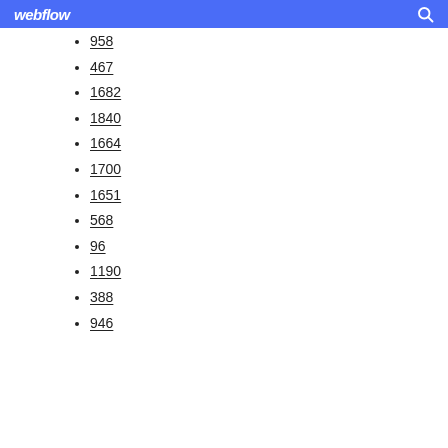webflow
958
467
1682
1840
1664
1700
1651
568
96
1190
388
946